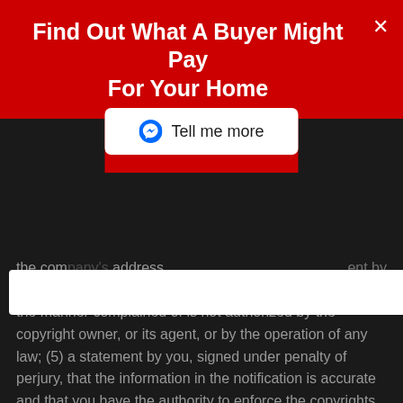Find Out What A Buyer Might Pay For Your Home
[Figure (screenshot): Tell me more button with Facebook Messenger icon, white button on red background]
the company's address... statement by you that you have a good faith belief that the content in the manner complained of is not authorized by the copyright owner, or its agent, or by the operation of any law; (5) a statement by you, signed under penalty of perjury, that the information in the notification is accurate and that you have the authority to enforce the copyrights that are claimed to be infringed; and (6) a physical or electronic signature of the copyright owner or a person authorized to act on the copyright owners behalf. Failure to include all of the above information may result in the delay of the processing of your complaint.